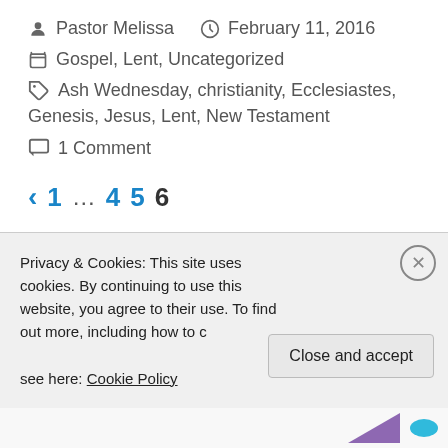Pastor Melissa   February 11, 2016
Gospel, Lent, Uncategorized
Ash Wednesday, christianity, Ecclesiastes, Genesis, Jesus, Lent, New Testament
1 Comment
< 1 ... 4 5 6
Privacy & Cookies: This site uses cookies. By continuing to use this website, you agree to their use. To find out more, including how to control cookies, see here: Cookie Policy
Close and accept